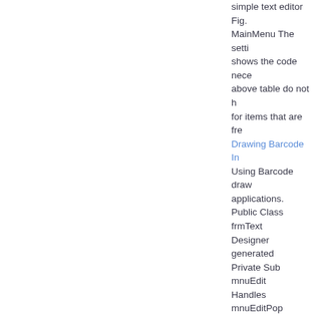simple text editor Fig. MainMenu The setting shows the code necessary above table do not h for items that are fre
Drawing Barcode In
Using Barcode draw applications. Public Class frmText Designer generated Private Sub mnuEdit Handles mnuEditPop ideal for setting up th 'There is text selecte 'There is no text sele End If If ClipboardGe 9 n WinForms Contr 'There is text in the c clipboard mnuEditPa undo option mnuEdit mnuEditUndoEnable sender As SystemOb 'Copy selected text t Sub Private Sub mn SystemEventArgs)